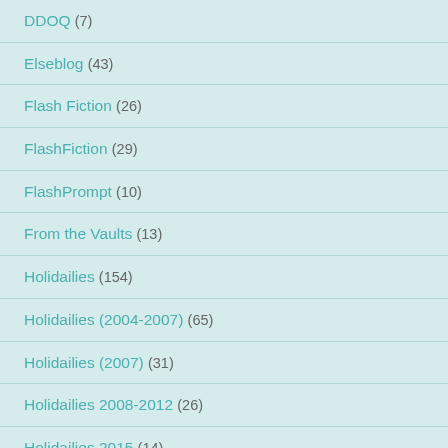DDOQ (7)
Elseblog (43)
Flash Fiction (26)
FlashFiction (29)
FlashPrompt (10)
From the Vaults (13)
Holidailies (154)
Holidailies (2004-2007) (65)
Holidailies (2007) (31)
Holidailies 2008-2012 (26)
Holidailies 2015 (14)